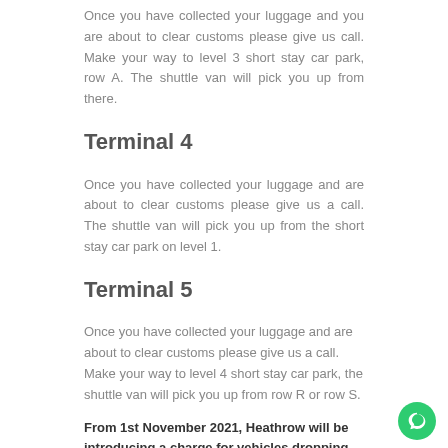Once you have collected your luggage and you are about to clear customs please give us call. Make your way to level 3 short stay car park, row A. The shuttle van will pick you up from there.
Terminal 4
Once you have collected your luggage and are about to clear customs please give us a call. The shuttle van will pick you up from the short stay car park on level 1.
Terminal 5
Once you have collected your luggage and are about to clear customs please give us a call. Make your way to level 4 short stay car park, the shuttle van will pick you up from row R or row S.
From 1st November 2021, Heathrow will be introducing a charge for vehicles dropping off passengers at its terminal forecourts. A £5 charge